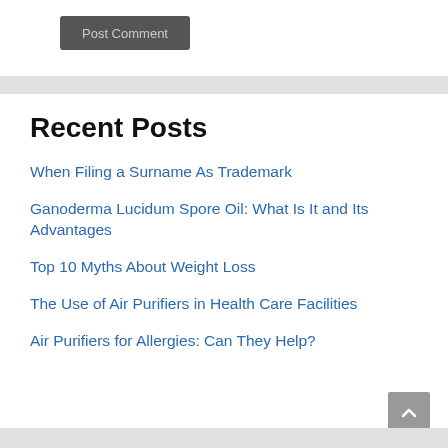Post Comment
Recent Posts
When Filing a Surname As Trademark
Ganoderma Lucidum Spore Oil: What Is It and Its Advantages
Top 10 Myths About Weight Loss
The Use of Air Purifiers in Health Care Facilities
Air Purifiers for Allergies: Can They Help?